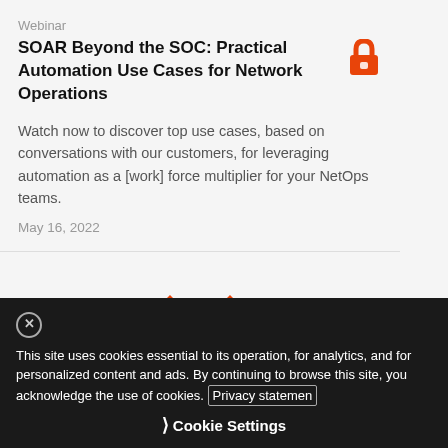Webinar
SOAR Beyond the SOC: Practical Automation Use Cases for Network Operations
Watch now to discover top use cases, based on conversations with our customers, for leveraging automation as a [work] force multiplier for your NetOps teams.
May 16, 2022
[Figure (logo): Palo Alto Networks / Demisto diamond-shaped logo in orange]
This site uses cookies essential to its operation, for analytics, and for personalized content and ads. By continuing to browse this site, you acknowledge the use of cookies. Privacy statement
Cookie Settings